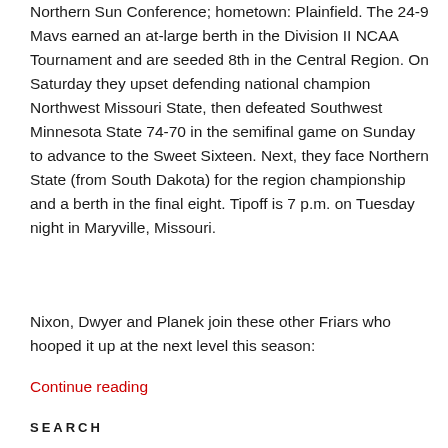Northern Sun Conference; hometown: Plainfield. The 24-9 Mavs earned an at-large berth in the Division II NCAA Tournament and are seeded 8th in the Central Region. On Saturday they upset defending national champion Northwest Missouri State, then defeated Southwest Minnesota State 74-70 in the semifinal game on Sunday to advance to the Sweet Sixteen. Next, they face Northern State (from South Dakota) for the region championship and a berth in the final eight. Tipoff is 7 p.m. on Tuesday night in Maryville, Missouri.
Nixon, Dwyer and Planek join these other Friars who hooped it up at the next level this season:
Continue reading
SEARCH